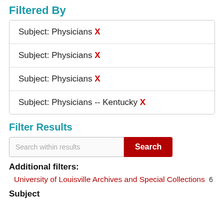Filtered By
Subject: Physicians X
Subject: Physicians X
Subject: Physicians X
Subject: Physicians -- Kentucky X
Filter Results
Search within results [Search button]
Additional filters:
University of Louisville Archives and Special Collections  6
Subject